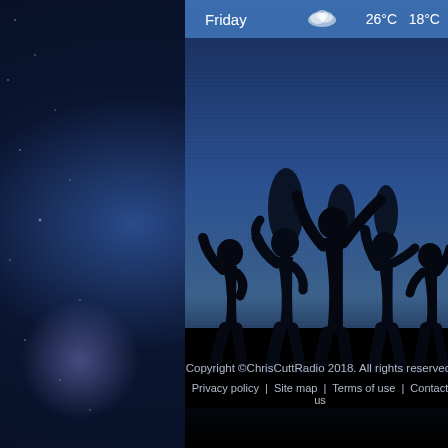[Figure (screenshot): Website footer screenshot with starry night background. Center panel shows a weather widget row with 'Friday', cloud icon, '26°C', '18°C'. Below is a dark blue gradient background with silhouettes of dancing people. At the bottom is copyright text and navigation links.]
Friday   ☁  26°C   18°C
Copyright ©ChrisCuttRadio 2018. All rights reserved.
Privacy policy  |  Site map  |  Terms of use  |  Contact us